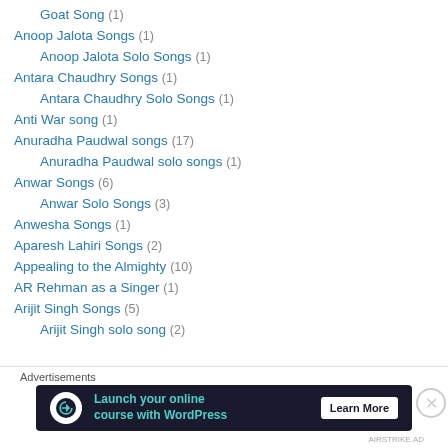Goat Song (1)
Anoop Jalota Songs (1)
Anoop Jalota Solo Songs (1)
Antara Chaudhry Songs (1)
Antara Chaudhry Solo Songs (1)
Anti War song (1)
Anuradha Paudwal songs (17)
Anuradha Paudwal solo songs (1)
Anwar Songs (6)
Anwar Solo Songs (3)
Anwesha Songs (1)
Aparesh Lahiri Songs (2)
Appealing to the Almighty (10)
AR Rehman as a Singer (1)
Arijit Singh Songs (5)
Arijit Singh solo song (2)
Advertisements
[Figure (infographic): Advertisement banner: Launch your online course with WordPress — Learn More button]